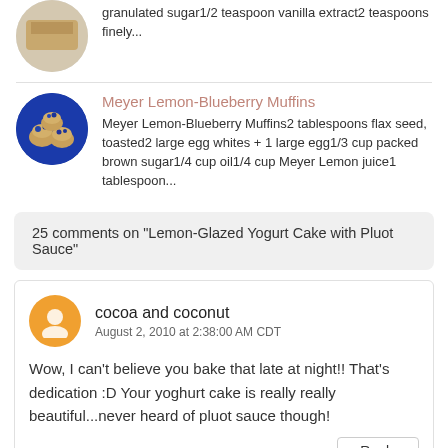granulated sugar1/2 teaspoon vanilla extract2 teaspoons finely...
Meyer Lemon-Blueberry Muffins
Meyer Lemon-Blueberry Muffins2 tablespoons flax seed, toasted2 large egg whites + 1 large egg1/3 cup packed brown sugar1/4 cup oil1/4 cup Meyer Lemon juice1 tablespoon...
25 comments on "Lemon-Glazed Yogurt Cake with Pluot Sauce"
cocoa and coconut
August 2, 2010 at 2:38:00 AM CDT
Wow, I can't believe you bake that late at night!! That's dedication :D Your yoghurt cake is really really beautiful...never heard of pluot sauce though!